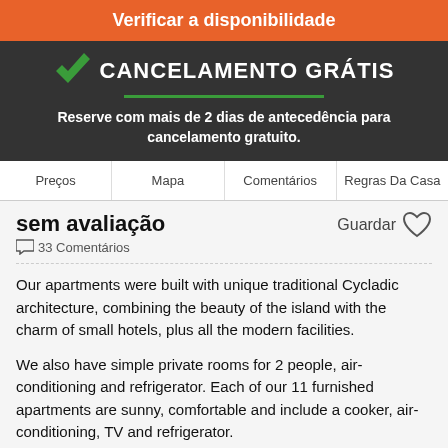Verificar a disponibilidade
CANCELAMENTO GRÁTIS
Reserve com mais de 2 dias de antecedência para cancelamento gratuito.
Preços  Mapa  Comentários  Regras Da Casa
sem avaliação
33 Comentários
Guardar
Our apartments were built with unique traditional Cycladic architecture, combining the beauty of the island with the charm of small hotels, plus all the modern facilities.
We also have simple private rooms for 2 people, air-conditioning and refrigerator. Each of our 11 furnished apartments are sunny, comfortable and include a cooker, air-conditioning, TV and refrigerator.